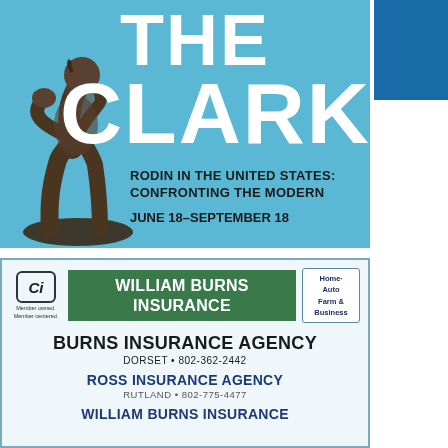[Figure (illustration): The Clark museum advertisement featuring Rodin's The Thinker sculpture on a sky blue background with large white text 'THE CLARK' and exhibition details for 'Rodin in the United States: Confronting the Modern, June 18–September 18']
[Figure (logo): William Burns Insurance advertisement with Ci member logo, green banner reading 'William Burns Insurance', Home/Auto/Farm/Business badge, and agency listings for Burns Insurance Agency (Dorset 802-362-2442), Ross Insurance Agency (Rutland 802-775-4477), and William Burns Insurance]